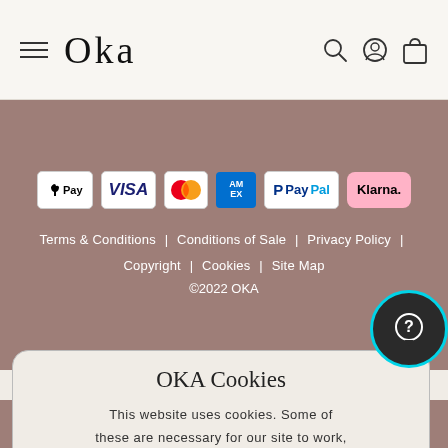OKA
[Figure (logo): Payment method logos: Apple Pay, Visa, Mastercard, American Express, PayPal, Klarna]
Terms & Conditions | Conditions of Sale | Privacy Policy | Copyright | Cookies | Site Map
©2022 OKA
OKA Cookies
This website uses cookies. Some of these are necessary for our site to work, others help us to personalized content
ADD TO CART